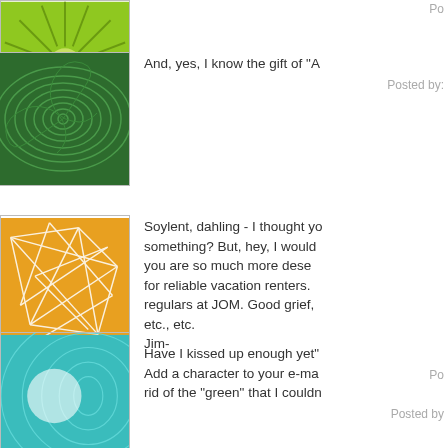[Figure (illustration): Green sunburst/spiky pattern avatar icon, partially visible at top]
Po
[Figure (illustration): Dark green spiral swirl pattern avatar icon]
And, yes, I know the gift of "A
Posted by:
[Figure (illustration): Orange geometric network/lines pattern avatar icon]
Soylent, dahling - I thought yo something? But, hey, I would you are so much more dese for reliable vacation renters. regulars at JOM. Good grief, etc., etc.

Have I kissed up enough yet"
Po
[Figure (illustration): Teal/cyan concentric oval pattern avatar icon]
Jim-

Add a character to your e-ma rid of the "green" that I couldn
Posted by